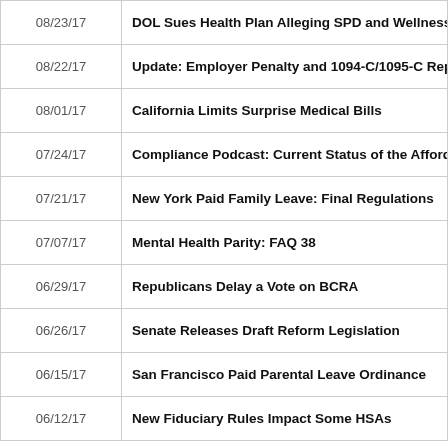| Date | Title |
| --- | --- |
| 08/23/17 | DOL Sues Health Plan Alleging SPD and Wellness Program |
| 08/22/17 | Update: Employer Penalty and 1094-C/1095-C Reporting |
| 08/01/17 | California Limits Surprise Medical Bills |
| 07/24/17 | Compliance Podcast: Current Status of the Affordable Care |
| 07/21/17 | New York Paid Family Leave: Final Regulations |
| 07/07/17 | Mental Health Parity: FAQ 38 |
| 06/29/17 | Republicans Delay a Vote on BCRA |
| 06/26/17 | Senate Releases Draft Reform Legislation |
| 06/15/17 | San Francisco Paid Parental Leave Ordinance |
| 06/12/17 | New Fiduciary Rules Impact Some HSAs |